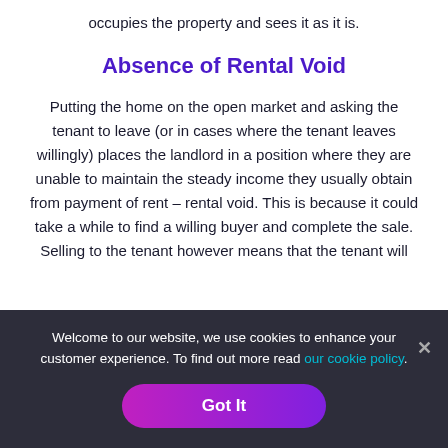occupies the property and sees it as it is.
Absence of Rental Void
Putting the home on the open market and asking the tenant to leave (or in cases where the tenant leaves willingly) places the landlord in a position where they are unable to maintain the steady income they usually obtain from payment of rent – rental void. This is because it could take a while to find a willing buyer and complete the sale. Selling to the tenant however means that the tenant will
Welcome to our website, we use cookies to enhance your customer experience. To find out more read our cookie policy.
Got It